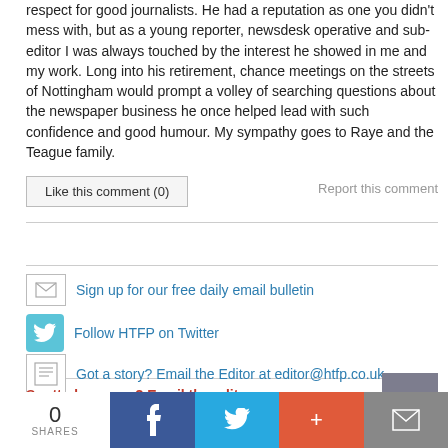respect for good journalists. He had a reputation as one you didn't mess with, but as a young reporter, newsdesk operative and sub-editor I was always touched by the interest he showed in me and my work. Long into his retirement, chance meetings on the streets of Nottingham would prompt a volley of searching questions about the newspaper business he once helped lead with such confidence and good humour. My sympathy goes to Raye and the Teague family.
Like this comment (0)
Report this comment
Sign up for our free daily email bulletin
Follow HTFP on Twitter
Got a story? Email the Editor at editor@htfp.co.uk
Spotted an error? Email the editor.
0
SHARES